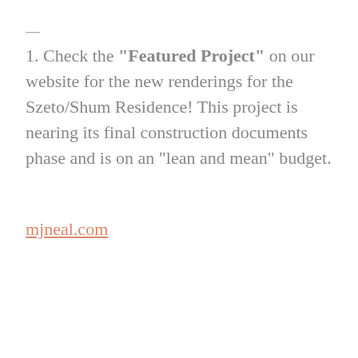—
1. Check the "Featured Project" on our website for the new renderings for the Szeto/Shum Residence! This project is nearing its final construction documents phase and is on an “lean and mean” budget.
mjneal.com